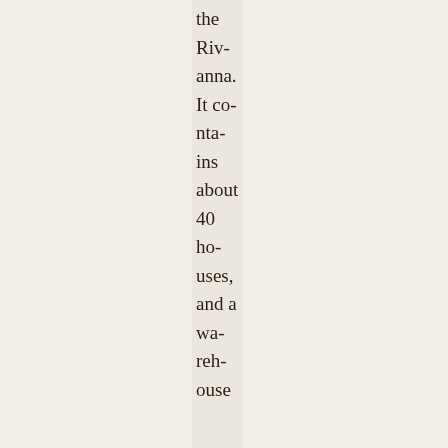the Rivanna. It contains about 40 houses, and a warehouse